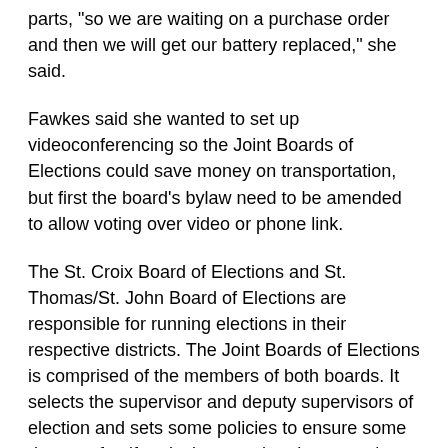parts, "so we are waiting on a purchase order and then we will get our battery replaced," she said.
Fawkes said she wanted to set up videoconferencing so the Joint Boards of Elections could save money on transportation, but first the board's bylaw need to be amended to allow voting over video or phone link.
The St. Croix Board of Elections and St. Thomas/St. John Board of Elections are responsible for running elections in their respective districts. The Joint Boards of Elections is comprised of the members of both boards. It selects the supervisor and deputy supervisors of election and sets some policies to ensure some degree of uniformity in procedure between the districts.
After Fawkes' report, board member Lisa Moorhead moved